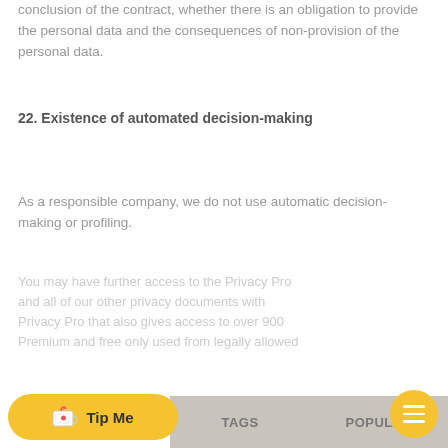conclusion of the contract, whether there is an obligation to provide the personal data and the consequences of non-provision of the personal data.
22. Existence of automated decision-making
As a responsible company, we do not use automatic decision-making or profiling.
[faded/obscured text]
Tip Me  TAGS  POPULAR